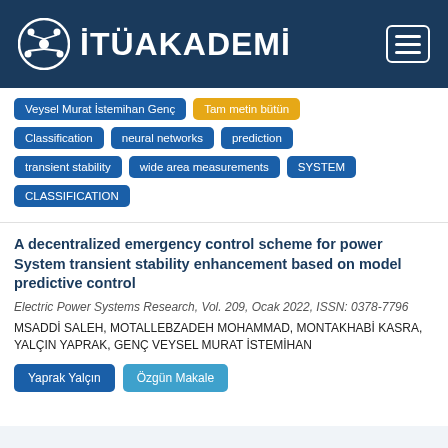İTÜAKADEMİ
Veysel Murat İstemihan Genç
Tam metin bütün
Classification
neural networks
prediction
transient stability
wide area measurements
SYSTEM
CLASSIFICATION
A decentralized emergency control scheme for power System transient stability enhancement based on model predictive control
Electric Power Systems Research, Vol. 209, Ocak 2022, ISSN: 0378-7796
MSADDİ SALEH, MOTALLEBZADEH MOHAMMAD, MONTAKHABİ KASRA, YALÇIN YAPRAK, GENÇ VEYSEL MURAT İSTEMİHAN
Yaprak Yalçın
Özgün Makale